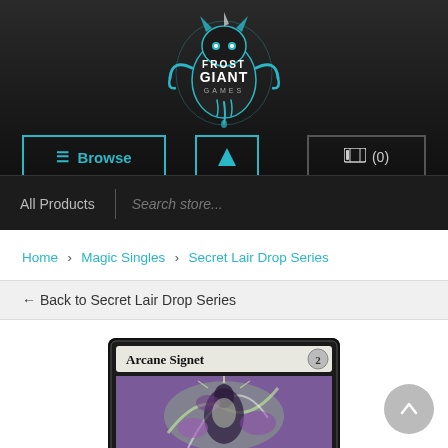[Figure (logo): Frost Giant Games logo with ice/giant imagery in blue and white on dark background]
≡ Browse
[Figure (illustration): User/account icon (blue triangle/person shape)]
🛒 (0)
All Products
Search store...
Home > Magic Singles > Secret Lair Drop Series
← Back to Secret Lair Drop Series
[Figure (illustration): Magic: The Gathering card - Arcane Signet with cost 2, showing purple and green magical artwork with a figure surrounded by arcane energy]